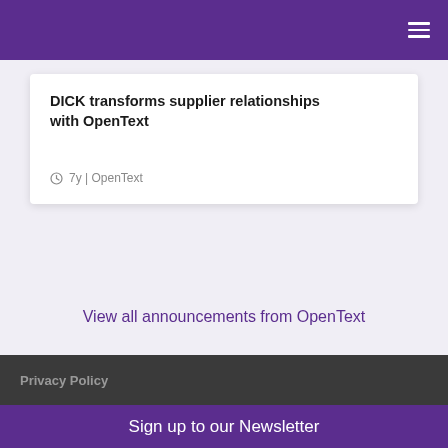DICK transforms supplier relationships with OpenText
7y | OpenText
View all announcements from OpenText
Privacy Policy
Sign up to our Newsletter